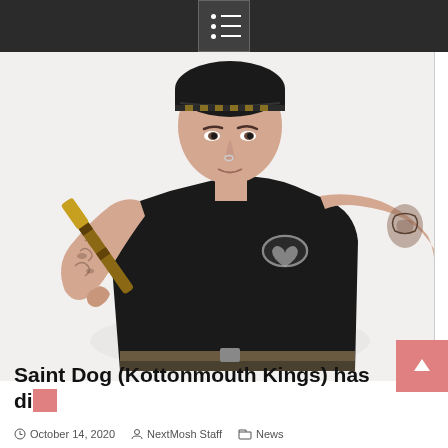Navigation menu icon
[Figure (photo): A tattooed man wearing a black t-shirt and black beanie hat, leaning forward holding a decorated stick or bat over his shoulder. White background. The t-shirt has a logo on the chest.]
Saint Dog (Kottonmouth Kings) has died
October 14, 2020  NextMosh Staff  News